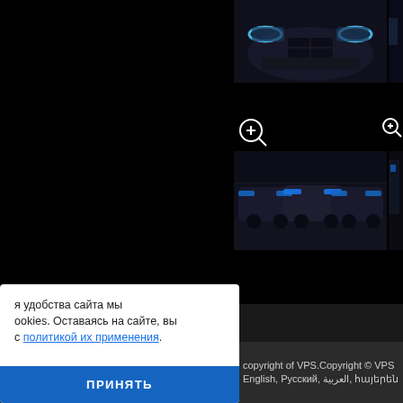[Figure (photo): Front view of a dark SUV with blue headlights in a dark setting]
[Figure (photo): Partial right-edge view of another vehicle with blue lighting]
[Figure (photo): Fleet of dark SUVs with blue lights in an indoor showroom/garage]
[Figure (photo): Partial right-edge view of a person or vehicle with blue lighting]
я удобства сайта мыrookies. Оставаясь на сайте, вы
с политикой их применения.
ПРИНЯТЬ
copyright of VPS.Copyright © VPS
English, Русский, العربية, հայերեն